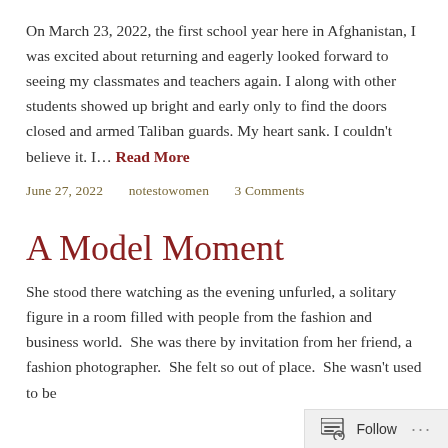On March 23, 2022, the first school year here in Afghanistan, I was excited about returning and eagerly looked forward to seeing my classmates and teachers again. I along with other students showed up bright and early only to find the doors closed and armed Taliban guards. My heart sank. I couldn't believe it. I… Read More
June 27, 2022   notestowomen   3 Comments
A Model Moment
She stood there watching as the evening unfurled, a solitary figure in a room filled with people from the fashion and business world.  She was there by invitation from her friend, a fashion photographer.  She felt so out of place.  She wasn't used to be
Follow ...